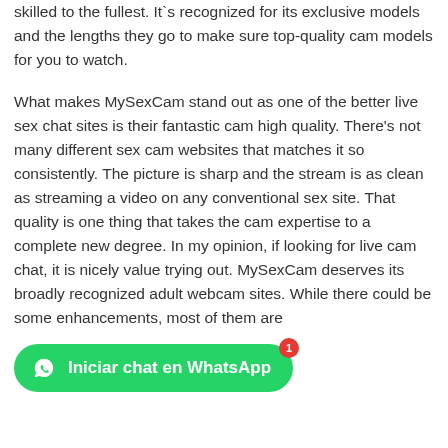skilled to the fullest. It`s recognized for its exclusive models and the lengths they go to make sure top-quality cam models for you to watch.
What makes MySexCam stand out as one of the better live sex chat sites is their fantastic cam high quality. There’s not many different sex cam websites that matches it so consistently. The picture is sharp and the stream is as clean as streaming a video on any conventional sex site. That quality is one thing that takes the cam expertise to a complete new degree. In my opinion, if looking for live cam chat, it is nicely value trying out. MySexCam deserves its broadly recognized adult webcam sites. While there could be some enhancements, most of them are
[Figure (other): Green WhatsApp chat button with WhatsApp logo icon and text 'Iniciar chat en WhatsApp', with a red notification badge showing '1']